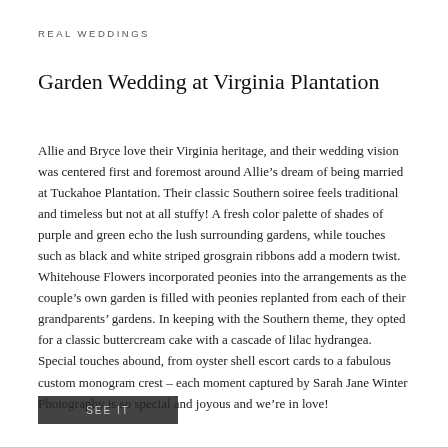REAL WEDDINGS
Garden Wedding at Virginia Plantation
Allie and Bryce love their Virginia heritage, and their wedding vision was centered first and foremost around Allie’s dream of being married at Tuckahoe Plantation. Their classic Southern soiree feels traditional and timeless but not at all stuffy! A fresh color palette of shades of purple and green echo the lush surrounding gardens, while touches such as black and white striped grosgrain ribbons add a modern twist. Whitehouse Flowers incorporated peonies into the arrangements as the couple’s own garden is filled with peonies replanted from each of their grandparents’ gardens. In keeping with the Southern theme, they opted for a classic buttercream cake with a cascade of lilac hydrangea. Special touches abound, from oyster shell escort cards to a fabulous custom monogram crest – each moment captured by Sarah Jane Winter Photography is so special and joyous and we’re in love!
SEE IT